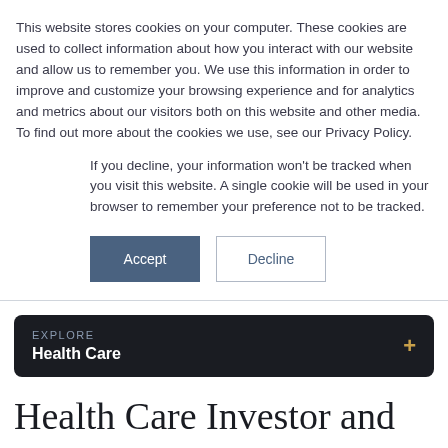This website stores cookies on your computer. These cookies are used to collect information about how you interact with our website and allow us to remember you. We use this information in order to improve and customize your browsing experience and for analytics and metrics about our visitors both on this website and other media. To find out more about the cookies we use, see our Privacy Policy.
If you decline, your information won't be tracked when you visit this website. A single cookie will be used in your browser to remember your preference not to be tracked.
Accept | Decline
EXPLORE
Health Care
Health Care Investor and